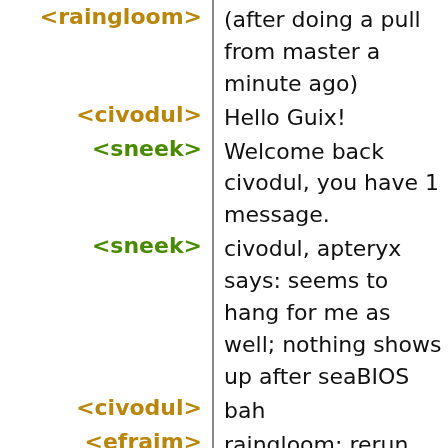<raingloom> (after doing a pull from master a minute ago)
<civodul> Hello Guix!
<sneek> Welcome back civodul, you have 1 message.
<sneek> civodul, apteryx says: seems to hang for me as well; nothing shows up after seaBIOS
<civodul> bah
<efraim> raingloom: rerun bootstrap
<civodul> janneke: congrats on the wip-bootstrap merge! \o/
<raingloom> efraim, oh *dub*